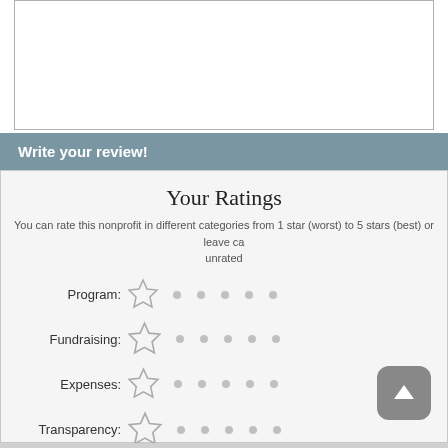Write your review!
Your Ratings
You can rate this nonprofit in different categories from 1 star (worst) to 5 stars (best) or leave categories unrated
Program:
Fundraising:
Expenses:
Transparency: